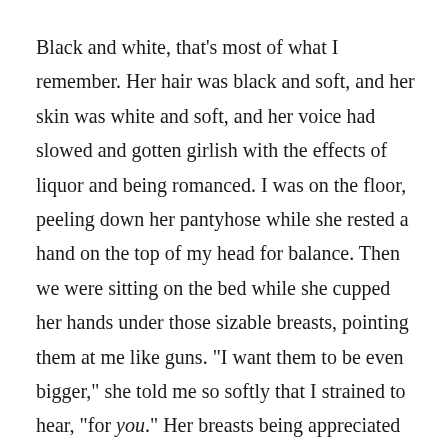Black and white, that's most of what I remember. Her hair was black and soft, and her skin was white and soft, and her voice had slowed and gotten girlish with the effects of liquor and being romanced. I was on the floor, peeling down her pantyhose while she rested a hand on the top of my head for balance. Then we were sitting on the bed while she cupped her hands under those sizable breasts, pointing them at me like guns. "I want them to be even bigger," she told me so softly that I strained to hear, "for you." Her breasts being appreciated made her smile in the slanted light from the street like a round-faced cartoon character, a cat-and-canary smile. When I carried